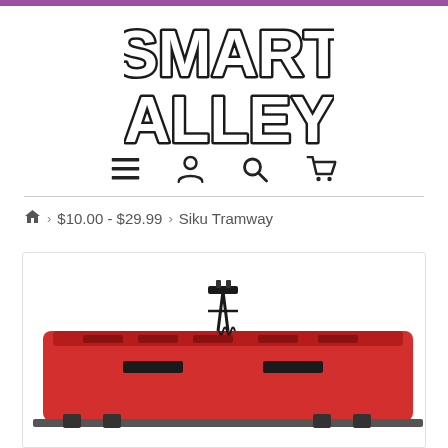[Figure (logo): Smart Alley logo in bold chunky black-outlined white text]
[Figure (infographic): Navigation icons: hamburger menu, person/account, search magnifier, shopping cart]
🏠 › $10.00 - $29.99 › Siku Tramway
[Figure (photo): Product photo of a red Siku Tramway model with black pantograph on top, viewed from above at an angle]